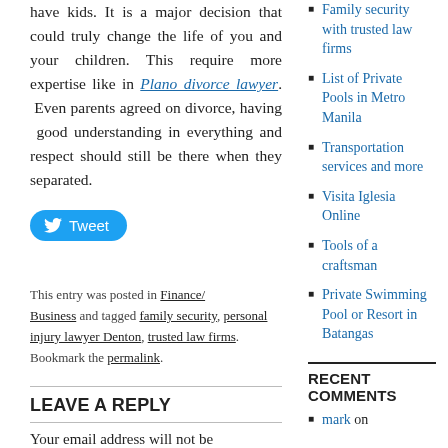have kids. It is a major decision that could truly change the life of you and your children. This require more expertise like in Plano divorce lawyer. Even parents agreed on divorce, having good understanding in everything and respect should still be there when they separated.
[Figure (other): Tweet button with Twitter bird icon]
This entry was posted in Finance/Business and tagged family security, personal injury lawyer Denton, trusted law firms. Bookmark the permalink.
LEAVE A REPLY
Your email address will not be
Family security with trusted law firms
List of Private Pools in Metro Manila
Transportation services and more
Visita Iglesia Online
Tools of a craftsman
Private Swimming Pool or Resort in Batangas
RECENT COMMENTS
mark on